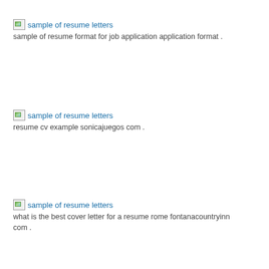[Figure (other): Broken image icon with alt text 'sample of resume letters' as hyperlink]
sample of resume format for job application application format .
[Figure (other): Broken image icon with alt text 'sample of resume letters' as hyperlink]
resume cv example sonicajuegos com .
[Figure (other): Broken image icon with alt text 'sample of resume letters' as hyperlink]
what is the best cover letter for a resume rome fontanacountryinn com .